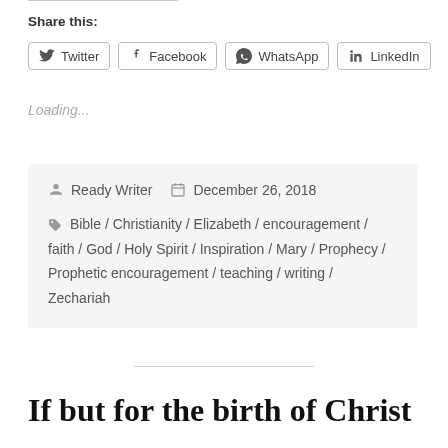Share this:
Twitter / Facebook / WhatsApp / LinkedIn
Loading...
Ready Writer   December 26, 2018
Bible / Christianity / Elizabeth / encouragement / faith / God / Holy Spirit / Inspiration / Mary / Prophecy / Prophetic encouragement / teaching / writing / Zechariah
If but for the birth of Christ